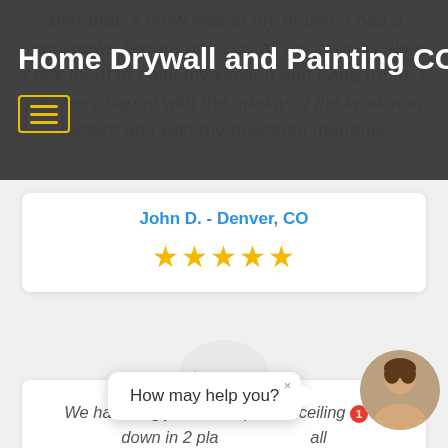Home Drywall and Painting CO
after that, a crew was at my house. I had a knockdown texture done on all my ceilings, then I ask them to paint my kitchen and living room. I was very happy with the quality of the work and repairs and with my oversight manager
John D. - Denver, CO
[Figure (other): Five gold/yellow star rating icons]
[Figure (other): Five gold 3D star rating badge in a light oval background]
We had a big job, with a plaster ceiling falling down in 2 places, and all the smaller independent contractors were willing to do it. Jorge from Home Drywall gave a quick
How may help you?